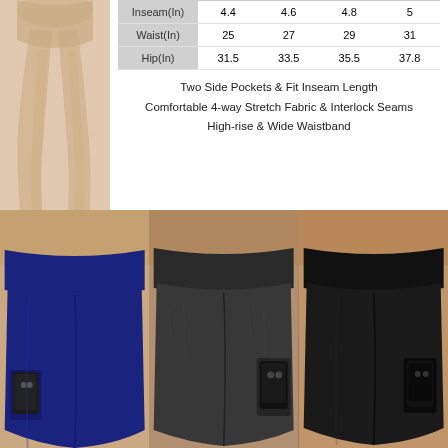[Figure (photo): Woman's bare legs posed against light background]
|  | XS/S | M | L | XL |
| --- | --- | --- | --- | --- |
| Inseam(In) | 4.4 | 4.6 | 4.8 | 5 |
| Waist(In) | 25 | 27 | 29 | 31 |
| Hip(In) | 31.5 | 33.5 | 35.5 | 37.8 |
Two Side Pockets & Fit Inseam Length
Comfortable 4-way Stretch Fabric & Interlock Seams
High-rise & Wide Waistband
[Figure (photo): Three women wearing yoga/athletic shorts in navy blue, dark charcoal, and black, each showing side pockets with a phone]